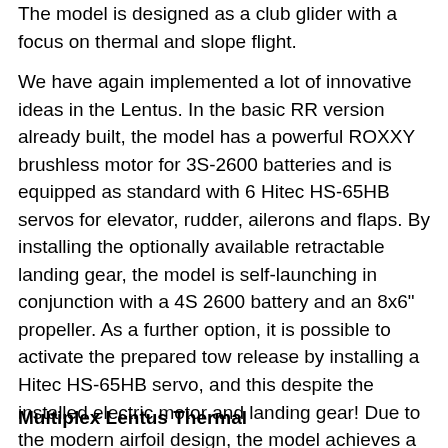The model is designed as a club glider with a focus on thermal and slope flight.
We have again implemented a lot of innovative ideas in the Lentus. In the basic RR version already built, the model has a powerful ROXXY brushless motor for 3S-2600 batteries and is equipped as standard with 6 Hitec HS-65HB servos for elevator, rudder, ailerons and flaps. By installing the optionally available retractable landing gear, the model is self-launching in conjunction with a 4S 2600 battery and an 8x6" propeller. As a further option, it is possible to activate the prepared tow release by installing a Hitec HS-65HB servo, and this despite the installed electric motor and landing gear! Due to the modern airfoil design, the model achieves a very wide performance range and allows a dynamic flying style. The 4 flap surfaces allow pinpoint landings (butterfly).
Multiplex Lentus Thermal